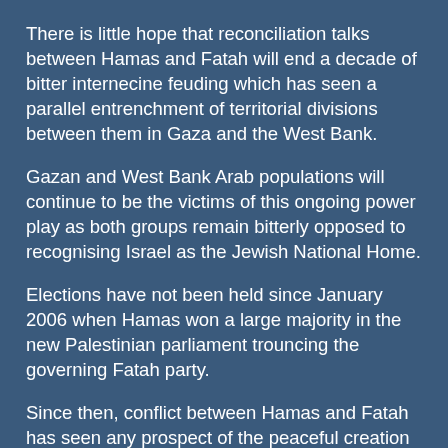There is little hope that reconciliation talks between Hamas and Fatah will end a decade of bitter internecine feuding which has seen a parallel entrenchment of territorial divisions between them in Gaza and the West Bank.
Gazan and West Bank Arab populations will continue to be the victims of this ongoing power play as both groups remain bitterly opposed to recognising Israel as the Jewish National Home.
Elections have not been held since January 2006 when Hamas won a large majority in the new Palestinian parliament trouncing the governing Fatah party.
Since then, conflict between Hamas and Fatah has seen any prospect of the peaceful creation of a second Arab State – in addition to Jordan – in the territory encompassed by the League of Nations Mandate for Palestine – consigned to the diplomatic scrapheap.
Now it seems that Hamas and Fatah are seeking yet again